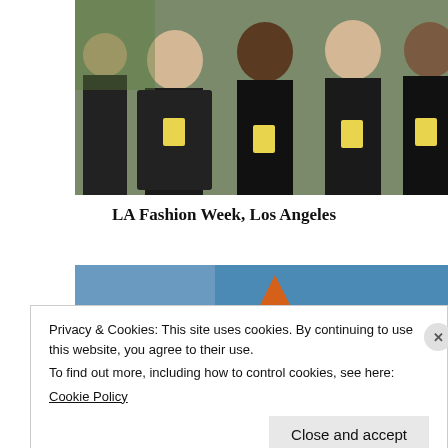[Figure (photo): Four women dressed in black posing together at LA Fashion Week, each wearing yellow event badge lanyards]
LA Fashion Week, Los Angeles
[Figure (photo): Partial view of a second photo showing a blue background with an orange star or decorative element]
Privacy & Cookies: This site uses cookies. By continuing to use this website, you agree to their use.
To find out more, including how to control cookies, see here:
Cookie Policy
Close and accept